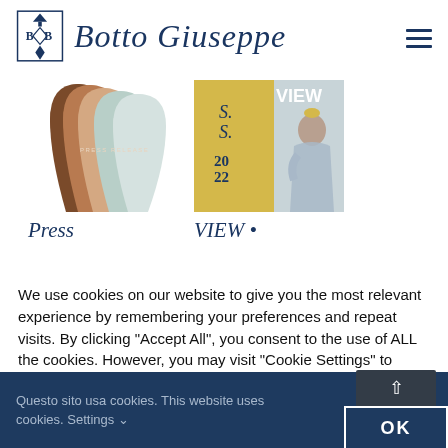[Figure (logo): Botto Giuseppe logo: blue emblem with stylized B letters and tree, next to italic cursive brand name 'Botto Giuseppe' in dark navy blue]
[Figure (photo): Press release thumbnail: overlapping profile silhouettes in warm earthy tones with text 'PRESS RELEASE']
[Figure (photo): VIEW magazine thumbnail: yellow background with 'S.S. 2022' text and fashion photo of woman in blue outfit with small yellow hat, VIEW text overlay]
Press
VIEW •
We use cookies on our website to give you the most relevant experience by remembering your preferences and repeat visits. By clicking "Accept All", you consent to the use of ALL the cookies. However, you may visit "Cookie Settings" to provide a controlled consent.
Questo sito usa cookies. This website uses cookies. Settings ∨
OK